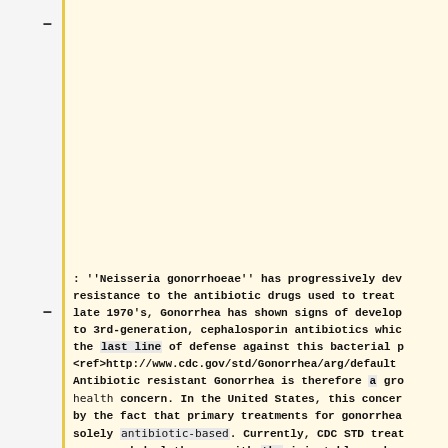: ''Neisseria gonorrhoeae'' has progressively developed resistance to the antibiotic drugs used to treat it. Since the late 1970's, Gonorrhea has shown signs of developing resistance to 3rd-generation, cephalosporin antibiotics which represent the last line of defense against this bacterial pathogen. <ref>http://www.cdc.gov/std/Gonorrhea/arg/default Antibiotic resistant Gonorrhea is therefore a growing public health concern. In the United States, this concern is heightened by the fact that primary treatments for gonorrhea are now solely antibiotic-based. Currently, CDC STD treatment guidelines recommend dual therapy with the injectable cephalosporin ceftriaxone and either azithromycin or doxycycline to treat uncomplicated gonococcal infections among adults and adolescents in the United States. Dual therapy is recommended to slow the potential emergence of gonococcal cephalosporin resistance and the ability of ''N. gonorrhoeae'' to develop antibiotic